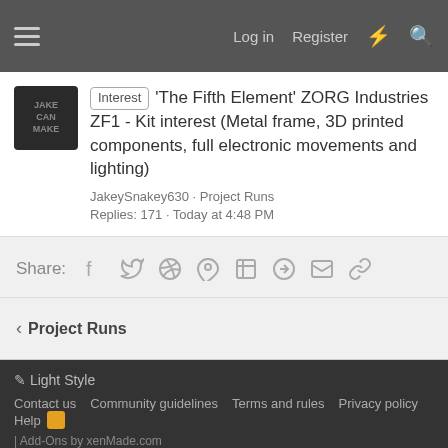Log in · Register
'The Fifth Element' ZORG Industries ZF1 - Kit interest (Metal frame, 3D printed components, full electronic movements and lighting)
JakeySnakey630 · Project Runs
Replies: 171 · Today at 4:48 PM
Share:
Project Runs
Light Style
Contact us · Community guidelines · Terms and rules · Privacy policy · Help
| Add-Ons by xenMade.com
Would you like to support our community? Sign up for an RPF Premium Membership today!